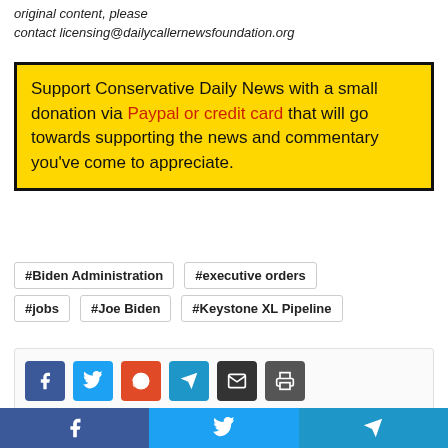original content, please contact licensing@dailycallernewsfoundation.org
Support Conservative Daily News with a small donation via Paypal or credit card that will go towards supporting the news and commentary you've come to appreciate.
#Biden Administration
#executive orders
#jobs
#Joe Biden
#Keystone XL Pipeline
[Figure (infographic): Row of social share buttons: Facebook (blue), Twitter (light blue), Reddit (orange-red), Telegram (blue), Email (dark), Print (dark grey)]
Bottom bar with Facebook, Twitter, Telegram share buttons